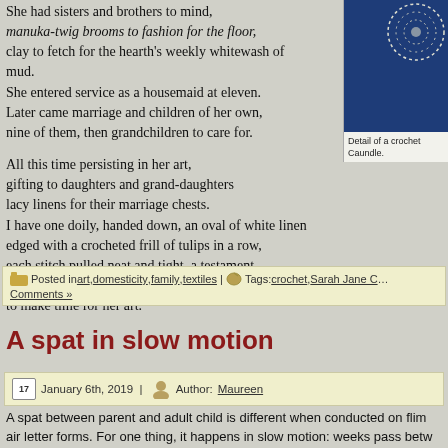She had sisters and brothers to mind,
manuka-twig brooms to fashion for the floor,
clay to fetch for the hearth's weekly whitewash of mud.
She entered service as a housemaid at eleven.
Later came marriage and children of her own,
nine of them, then grandchildren to care for.

All this time persisting in her art,
gifting to daughters and grand-daughters
lacy linens for their marriage chests.
I have one doily, handed down, an oval of white linen
edged with a crocheted frill of tulips in a row,
each stitch pulled neat and tight, a testament
to discipline and practice, and the will
to make time for her art.
[Figure (photo): Detail of a crochet piece by Caundle, shown against a dark blue background.]
Detail of a crochet Caundle.
Posted in art, domesticity, family, textiles | Tags: crochet, Sarah Jane C... Comments »
A spat in slow motion
January 6th, 2019 | Author: Maureen
A spat between parent and adult child is different when conducted on flim air letter forms. For one thing, it happens in slow motion: weeks pass betw retort. For another, it's solitary; neither side can see the angry tears of th